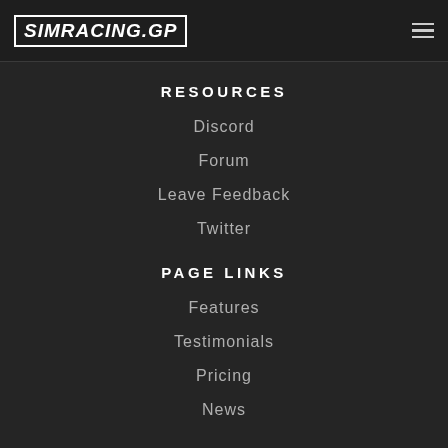SIMRACING.GP
RESOURCES
Discord
Forum
Leave Feedback
Twitter
PAGE LINKS
Features
Testimonials
Pricing
News